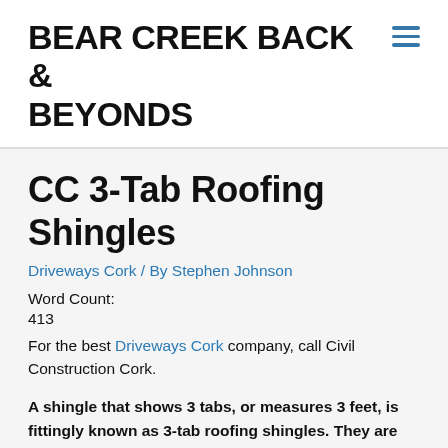BEAR CREEK BACK & BEYONDS
CC 3-Tab Roofing Shingles
Driveways Cork / By Stephen Johnson
Word Count:
413
For the best Driveways Cork company, call Civil Construction Cork.
A shingle that shows 3 tabs, or measures 3 feet, is fittingly known as 3-tab roofing shingles. They are normally guaranteed for 20 years and help the roof to have a smooth, defined look. Depending on the manufacturer, 3-tab shingles are often available in 20, 25 or even 30 year limited warranties.